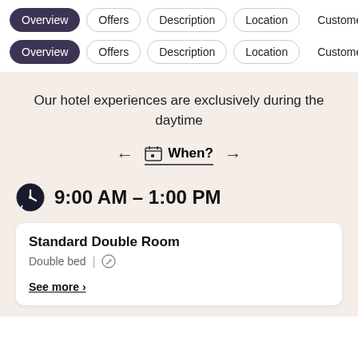Overview | Offers | Description | Location | Customer...
Overview | Offers | Description | Location | Customer...
Our hotel experiences are exclusively during the daytime
← 📅 When? →
9:00 AM - 1:00 PM
Standard Double Room
Double bed | ✏
See more ›